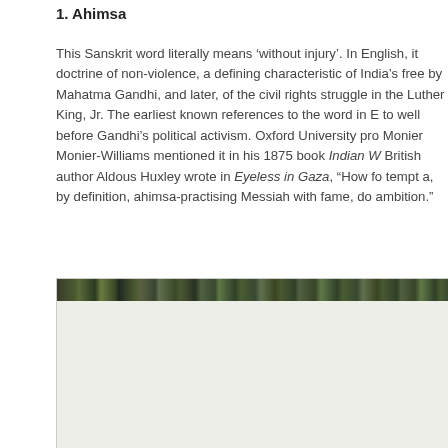1. Ahimsa
This Sanskrit word literally means ‘without injury’. In English, it doctrine of non-violence, a defining characteristic of India’s free by Mahatma Gandhi, and later, of the civil rights struggle in the Luther King, Jr. The earliest known references to the word in E to well before Gandhi’s political activism. Oxford University pro Monier Monier-Williams mentioned it in his 1875 book Indian W British author Aldous Huxley wrote in Eyeless in Gaza, “How fo tempt a, by definition, ahimsa-practising Messiah with fame, do ambition.”
[Figure (photo): A photographic strip showing foliage and natural outdoor scenery, partially visible at the top of an image box. The lower portion is blank/cream colored.]